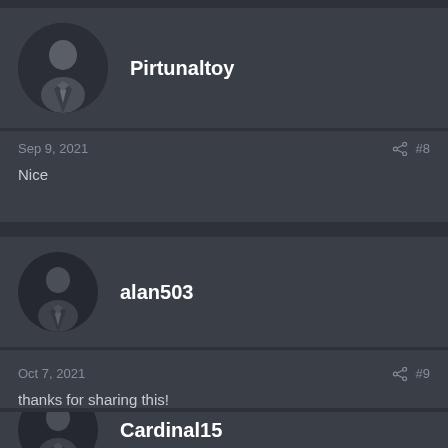[Figure (screenshot): User profile avatar for Pirtunaltoy - generic person silhouette icon in dark circle]
Pirtunaltoy
Sep 9, 2021
#8
Nice
[Figure (screenshot): User profile avatar for alan503 - generic person silhouette icon in dark circle]
alan503
Oct 7, 2021
#9
thanks for sharing this!
[Figure (screenshot): User profile avatar for Cardinal15 - generic person silhouette icon in dark circle (partially visible)]
Cardinal15